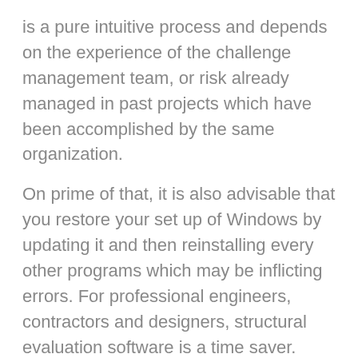is a pure intuitive process and depends on the experience of the challenge management team, or risk already managed in past projects which have been accomplished by the same organization.
On prime of that, it is also advisable that you restore your set up of Windows by updating it and then reinstalling every other programs which may be inflicting errors. For professional engineers, contractors and designers, structural evaluation software is a time saver.
software engineer salary google, software engineer job description, software engineer jobs
Whether or not you’re transforming your present dwelling or if you’re a contractor, designer, or architect, structural evaluation is crucial to your mission. The